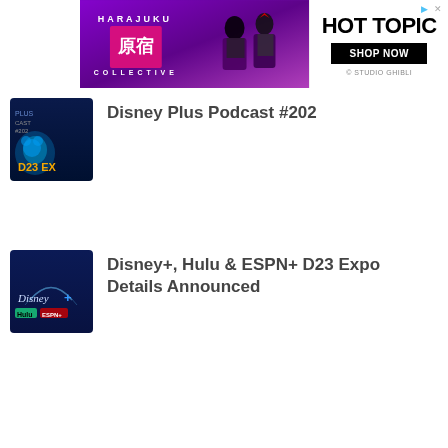[Figure (other): Advertisement banner: Harajuku Collective with two figures in purple/black outfits on purple background, and Hot Topic 'Shop Now' section on white background with © Studio Ghibli text]
Disney Plus Podcast #202
Disney+, Hulu & ESPN+ D23 Expo Details Announced